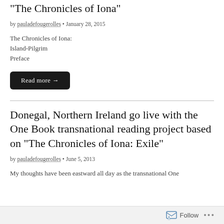“The Chronicles of Iona”
by pauladefougerolles • January 28, 2015
The Chronicles of Iona:
Island-Pilgrim
Preface
Read more →
Donegal, Northern Ireland go live with the One Book transnational reading project based on “The Chronicles of Iona: Exile”
by pauladefougerolles • June 5, 2013
My thoughts have been eastward all day as the transnational One